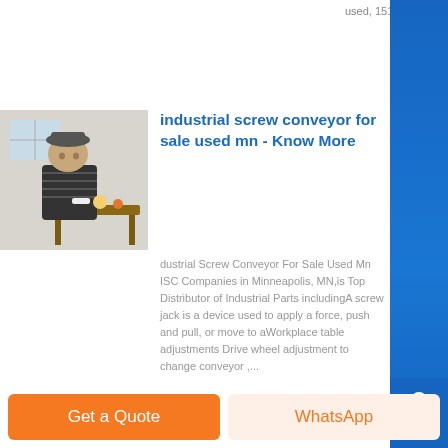used, 15176...
[Figure (photo): Person standing at a table with food items, wearing a striped top and hat]
industrial screw conveyor for sale used mn - Know More
dustrial Screw Conveyor For Sale Used Mn ISC Companies in Minneapolis, MN,is Top Distributor of Industrial Parts includingA screw jack is a device used to apply a force, push and pull, or move to aWorkplace table adjustments Drive wheel adjustment to change conveyor ,...
[Figure (photo): Industrial machinery or equipment, appears to be a mechanical device]
industrial screw conveyor for sale used mn - Know More
Get a Quote
WhatsApp